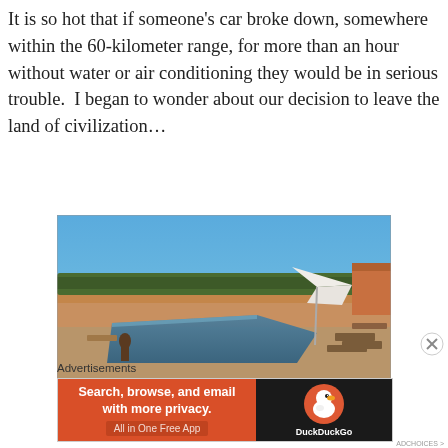It is so hot that if someone's car broke down, somewhere within the 60-kilometer range, for more than an hour without water or air conditioning they would be in serious trouble.  I began to wonder about our decision to leave the land of civilization…
[Figure (photo): A swimming pool at a resort or villa with lounge chairs and a large white umbrella, surrounded by arid landscape and trees under a clear blue sky.]
Advertisements
[Figure (screenshot): DuckDuckGo advertisement banner: orange left panel with text 'Search, browse, and email with more privacy. All in One Free App', and dark right panel with DuckDuckGo duck logo and 'DuckDuckGo' text.]